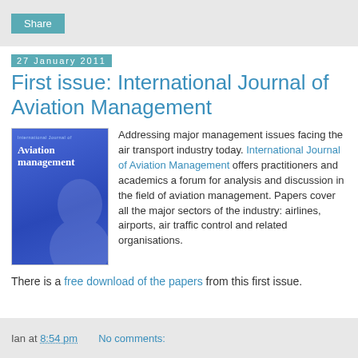Share
27 January 2011
First issue: International Journal of Aviation Management
[Figure (illustration): Book cover of International Journal of Aviation Management — blue cover with title text and silhouette of a person's face]
Addressing major management issues facing the air transport industry today. International Journal of Aviation Management offers practitioners and academics a forum for analysis and discussion in the field of aviation management. Papers cover all the major sectors of the industry: airlines, airports, air traffic control and related organisations.
There is a free download of the papers from this first issue.
Ian at 8:54 pm    No comments: